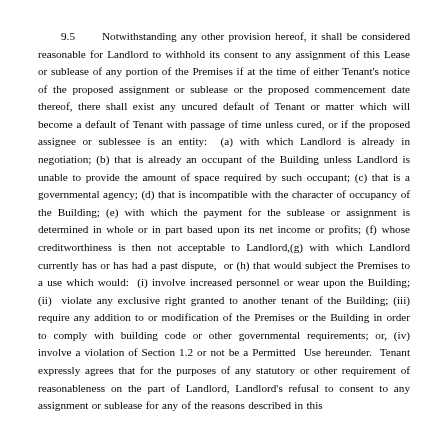9.5   Notwithstanding any other provision hereof, it shall be considered reasonable for Landlord to withhold its consent to any assignment of this Lease or sublease of any portion of the Premises if at the time of either Tenant's notice of the proposed assignment or sublease or the proposed commencement date thereof, there shall exist any uncured default of Tenant or matter which will become a default of Tenant with passage of time unless cured, or if the proposed assignee or sublessee is an entity:  (a) with which Landlord is already in negotiation; (b) that is already an occupant of the Building unless Landlord is unable to provide the amount of space required by such occupant; (c) that is a governmental agency; (d) that is incompatible with the character of occupancy of the Building; (e) with which the payment for the sublease or assignment is determined in whole or in part based upon its net income or profits; (f) whose creditworthiness is then not acceptable to Landlord,(g) with which Landlord currently has or has had a past dispute,  or (h) that would subject the Premises to a use which would:  (i) involve increased personnel or wear upon the Building; (ii)  violate any exclusive right granted to another tenant of the Building; (iii) require any addition to or modification of the Premises or the Building in order to comply with building code or other governmental requirements; or, (iv) involve a violation of Section 1.2 or not be a Permitted  Use hereunder.  Tenant expressly agrees that for the purposes of any statutory or other requirement of reasonableness on the part of Landlord, Landlord's refusal to consent to any assignment or sublease for any of the reasons described in this